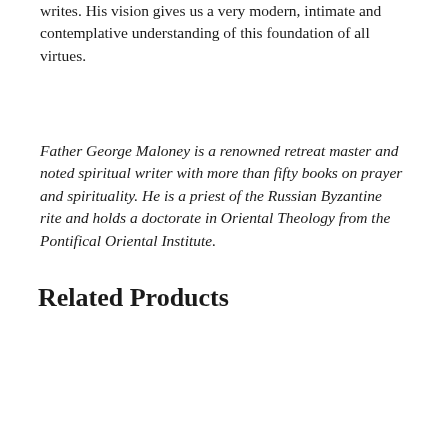writes. His vision gives us a very modern, intimate and contemplative understanding of this foundation of all virtues.
Father George Maloney is a renowned retreat master and noted spiritual writer with more than fifty books on prayer and spirituality. He is a priest of the Russian Byzantine rite and holds a doctorate in Oriental Theology from the Pontifical Oriental Institute.
Related Products